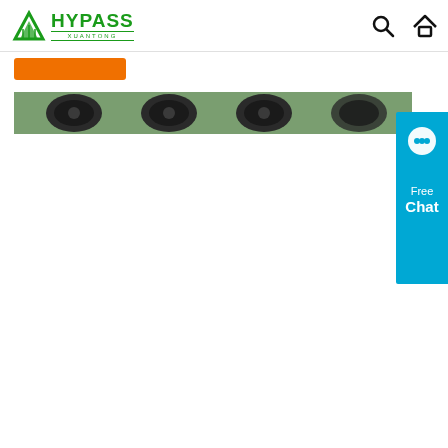[Figure (logo): HYPASS XUANTONG company logo with green mountain/triangle icon and green text]
[Figure (screenshot): Orange rectangular button below the navbar]
[Figure (photo): Banner image showing industrial products (dark circular objects like flanges or discs) with green bamboo/nature background]
[Figure (other): Blue Free Chat button widget on the right side with chat bubble icon, text reading Free Chat]